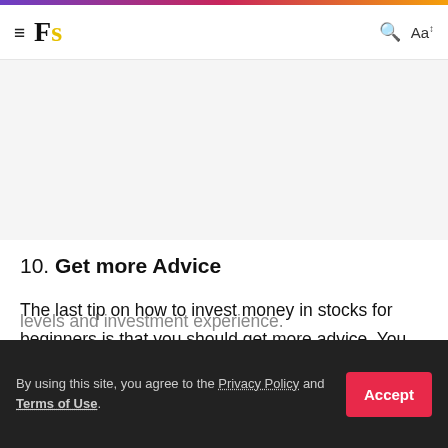Fs — search and font controls
10. Get more Advice
The last tip on how to invest money in stocks for beginners is that you should get more advice. You may study all those books and learn a lot on your own but you still need an experienced person to guide you. You can contact Investment firms like Charles Schwab, Northwestern Mutual, levels and investment experience.
By using this site, you agree to the Privacy Policy and Terms of Use.